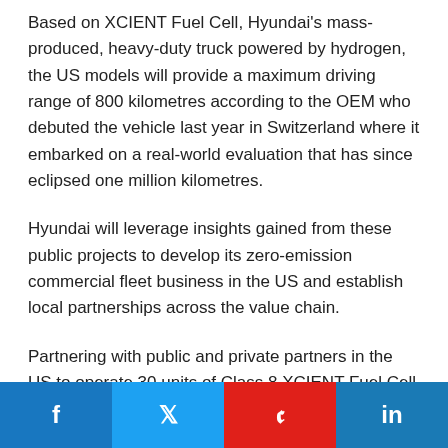Based on XCIENT Fuel Cell, Hyundai's mass-produced, heavy-duty truck powered by hydrogen, the US models will provide a maximum driving range of 800 kilometres according to the OEM who debuted the vehicle last year in Switzerland where it embarked on a real-world evaluation that has since eclipsed one million kilometres.
Hyundai will leverage insights gained from these public projects to develop its zero-emission commercial fleet business in the US and establish local partnerships across the value chain.
Partnering with public and private partners in the US to operate 30 units of Class 8 XCIENT Fuel Cell trucks, Hyundai expects to...
[Figure (other): Social media sharing buttons bar at the bottom: Facebook (blue), Twitter (light blue), Pinterest (red), LinkedIn (dark blue)]